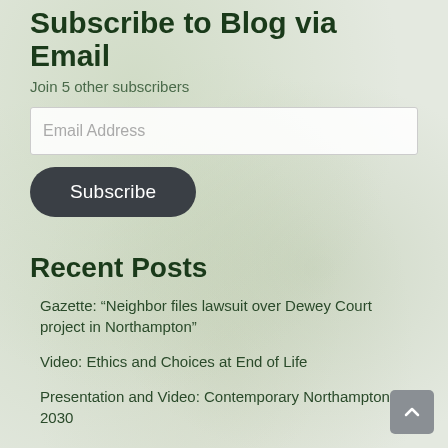Subscribe to Blog via Email
Join 5 other subscribers
Email Address
Subscribe
Recent Posts
Gazette: “Neighbor files lawsuit over Dewey Court project in Northampton”
Video: Ethics and Choices at End of Life
Presentation and Video: Contemporary Northampton in 2030